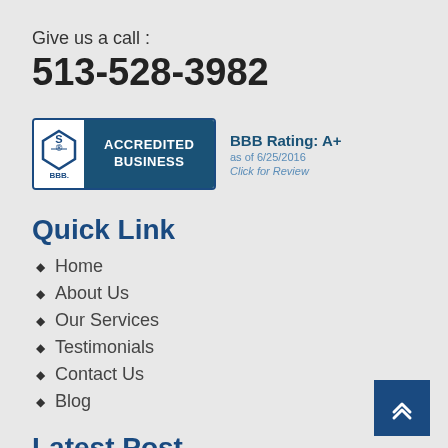Give us a call :
513-528-3982
[Figure (logo): BBB Accredited Business badge with BBB Rating: A+ as of 6/25/2016, Click for Review]
Quick Link
Home
About Us
Our Services
Testimonials
Contact Us
Blog
Latest Post
2021 Tax Changes For Personal Filing
December 23, 2021
Before you know it, tax season will be.